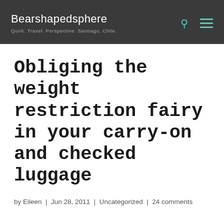Bearshapedsphere
Quirk. Travel. Perspective. Santiago, Chile.
Obliging the weight restriction fairy in your carry-on and checked luggage
by Eileen | Jun 28, 2011 | Uncategorized | 24 comments
Every time I go to the United States, I have the same